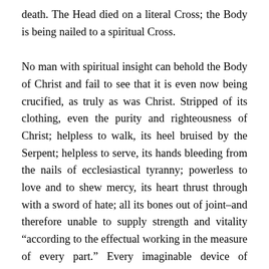death. The Head died on a literal Cross; the Body is being nailed to a spiritual Cross.
No man with spiritual insight can behold the Body of Christ and fail to see that it is even now being crucified, as truly as was Christ. Stripped of its clothing, even the purity and righteousness of Christ; helpless to walk, its heel bruised by the Serpent; helpless to serve, its hands bleeding from the nails of ecclesiastical tyranny; powerless to love and to shew mercy, its heart thrust through with a sword of hate; all its bones out of joint–and therefore unable to supply strength and vitality “according to the effectual working in the measure of every part.” Every imaginable device of ecclesiastical tyranny has been used against the Church, to make her completely helpless and useless and powerless so far as functioning as a Body is concerned. Every conceivable form of sin, carnality, division, schism